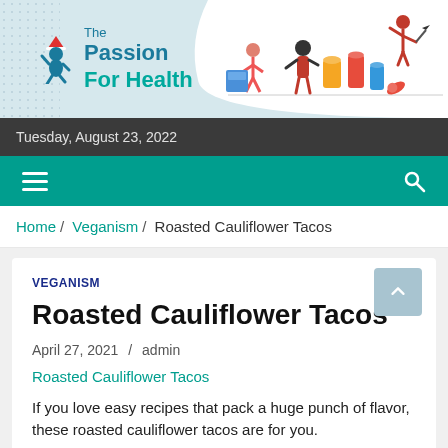[Figure (logo): The Passion For Health website logo with blue figure icon]
[Figure (illustration): Cartoon illustration of people with food/grocery containers on a white wave background]
Tuesday, August 23, 2022
Home / Veganism / Roasted Cauliflower Tacos
VEGANISM
Roasted Cauliflower Tacos
April 27, 2021 / admin
Roasted Cauliflower Tacos
If you love easy recipes that pack a huge punch of flavor, these roasted cauliflower tacos are for you.